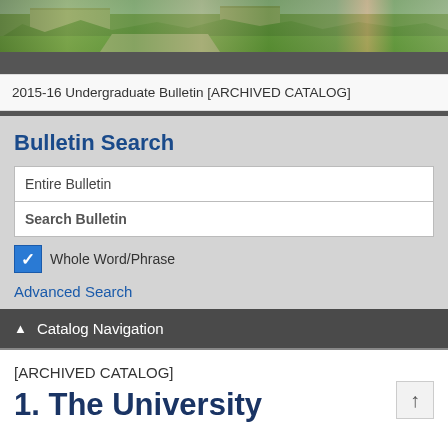[Figure (photo): Campus photo showing green lawns, trees, and university buildings]
2015-16 Undergraduate Bulletin [ARCHIVED CATALOG]
Bulletin Search
Entire Bulletin
Search Bulletin
Whole Word/Phrase
Advanced Search
Catalog Navigation
[ARCHIVED CATALOG]
1. The University